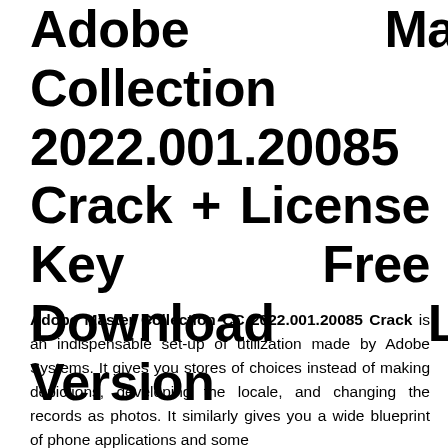Adobe Master Collection CC 2022.001.20085 Crack + License Key Free Download Latest Version
Adobe Master Collection CC 2022.001.20085 Crack is an indispensable set-up of utilization made by Adobe Systems. It gives you stores of choices instead of making depictions, developing the locale, and changing the records as photos. It similarly gives you a wide blueprint of phone applications and some